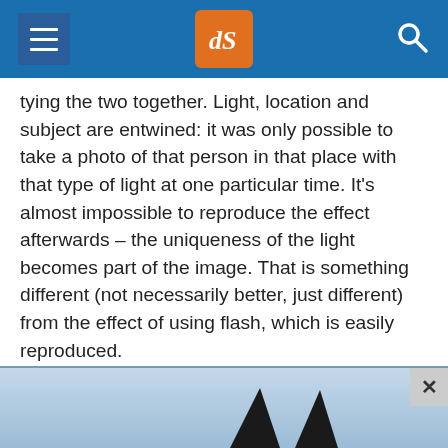dPS header navigation
tying the two together. Light, location and subject are entwined: it was only possible to take a photo of that person in that place with that type of light at one particular time. It’s almost impossible to reproduce the effect afterwards – the uniqueness of the light becomes part of the image. That is something different (not necessarily better, just different) from the effect of using flash, which is easily reproduced.
[Figure (photo): Bottom portion of an advertisement banner showing two dark shark fin silhouettes against a light blue sky background, with a close (X) button in the top right corner.]